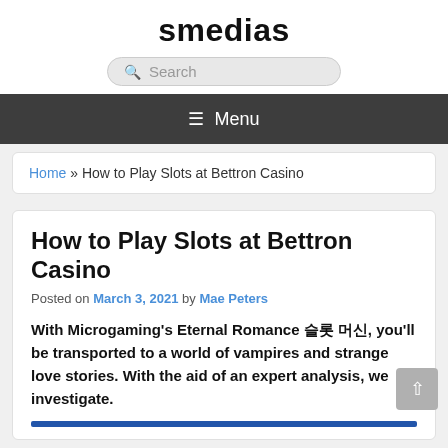smedias
Search
Menu
Home » How to Play Slots at Bettron Casino
How to Play Slots at Bettron Casino
Posted on March 3, 2021 by Mae Peters
With Microgaming's Eternal Romance 슬롯 머신, you'll be transported to a world of vampires and strange love stories. With the aid of an expert analysis, we investigate.